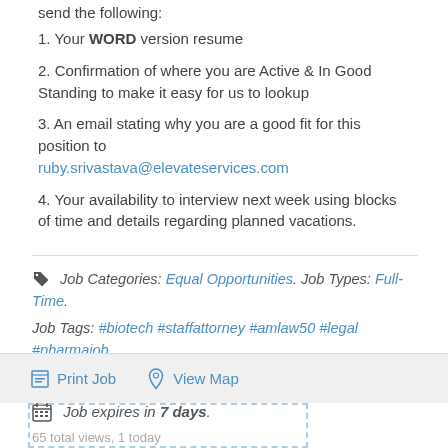send the following:
1. Your WORD version resume
2. Confirmation of where you are Active & In Good Standing to make it easy for us to lookup
3. An email stating why you are a good fit for this position to ruby.srivastava@elevateservices.com
4. Your availability to interview next week using blocks of time and details regarding planned vacations.
Job Categories: Equal Opportunities. Job Types: Full-Time. Job Tags: #biotech #staffattorney #amlaw50 #legal #pharmajob. Salaries: 100,000 and above.
Job expires in 7 days.
65 total views, 1 today
Print Job   View Map